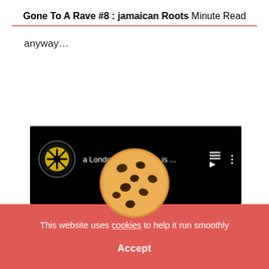Gone To A Rave #8 : jamaican Roots
Minute Read
anyway…
[Figure (screenshot): YouTube-style video player bar on black background showing a channel avatar with yellow/black logo, channel name 'a London ...is ...', playlist icon, and three-dot menu icon]
[Figure (illustration): Chocolate chip cookie illustration overlaying the YouTube bar and cookie consent banner]
This website uses cookies to help it run smoothly
Accept